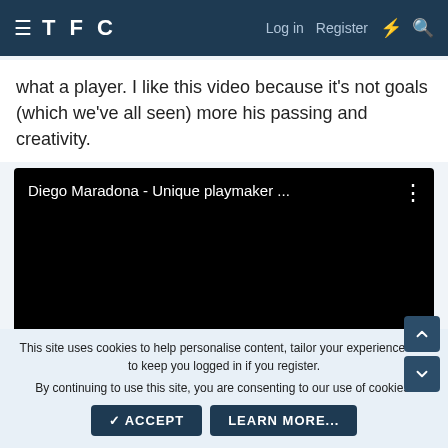TFC   Log in   Register
what a player. I like this video because it's not goals (which we've all seen) more his passing and creativity.
[Figure (screenshot): Embedded YouTube video player showing 'Diego Maradona - Unique playmaker ...' with black background and three-dot menu icon]
This site uses cookies to help personalise content, tailor your experience and to keep you logged in if you register. By continuing to use this site, you are consenting to our use of cookies.